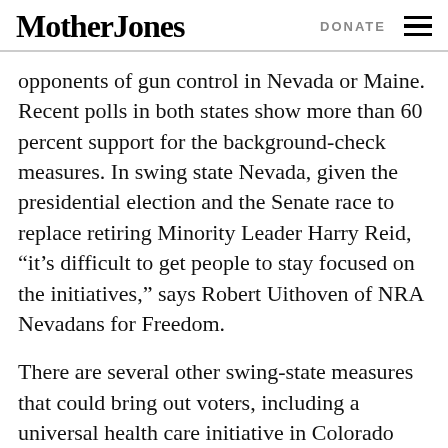Mother Jones | DONATE
opponents of gun control in Nevada or Maine. Recent polls in both states show more than 60 percent support for the background-check measures. In swing state Nevada, given the presidential election and the Senate race to replace retiring Minority Leader Harry Reid, “it’s difficult to get people to stay focused on the initiatives,” says Robert Uithoven of NRA Nevadans for Freedom.
There are several other swing-state measures that could bring out voters, including a universal health care initiative in Colorado and an anti-union proposal in Virginia. But experts say it’s important not to overstate the influence of any of these